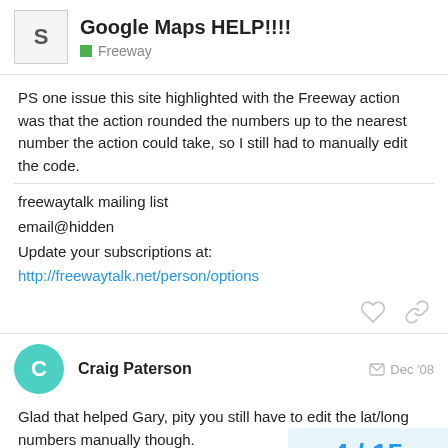Google Maps HELP!!!! — Freeway
PS one issue this site highlighted with the Freeway action was that the action rounded the numbers up to the nearest number the action could take, so I still had to manually edit the code.
freewaytalk mailing list
email@hidden
Update your subscriptions at:
http://freewaytalk.net/person/options
Craig Paterson  Dec '08
Glad that helped Gary, pity you still have to edit the lat/long numbers manually though.
Might be worth us sending a request to Sof